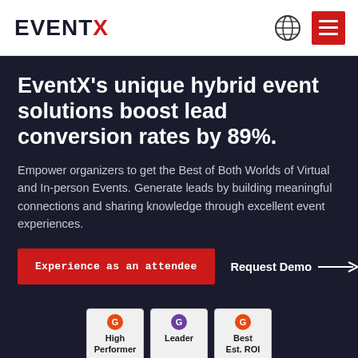EVENTX — navigation header with globe icon and menu button
EventX's unique hybrid event solutions boost lead conversion rates by 89%.
Empower organizers to get the Best of Both Worlds of Virtual and In-person Events. Generate leads by building meaningful connections and sharing knowledge through excellent event experiences.
Experience as an attendee | Request Demo →
[Figure (logo): Three G2 badges: High Performer, Leader, Best Est. ROI]